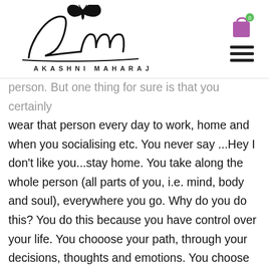Akashni Maharaj — website header with logo and navigation icons
person. But one thing for sure is that you certainly wear that person every day to work, home and when you socialising etc. You never say …Hey I don't like you…stay home. You take along the whole person (all parts of you, i.e. mind, body and soul), everywhere you go. Why do you do this?  You do this because you have control over your life. You chooose your path, through your decisions, thoughts and emotions. You choose to do what feels appropriate for that period of time. You see, it's like